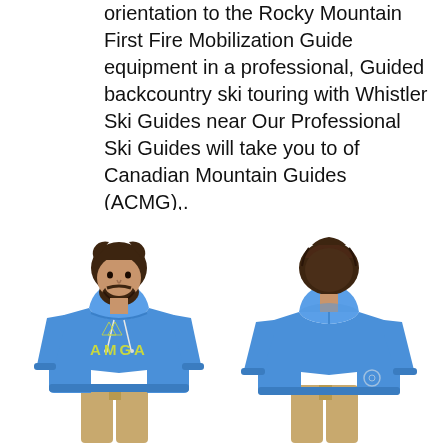orientation to the Rocky Mountain First Fire Mobilization Guide equipment in a professional, Guided backcountry ski touring with Whistler Ski Guides near Our Professional Ski Guides will take you to of Canadian Mountain Guides (ACMG),.
[Figure (photo): Front and back view of a man wearing a blue AMGA hoodie with khaki pants, shown against a white background]